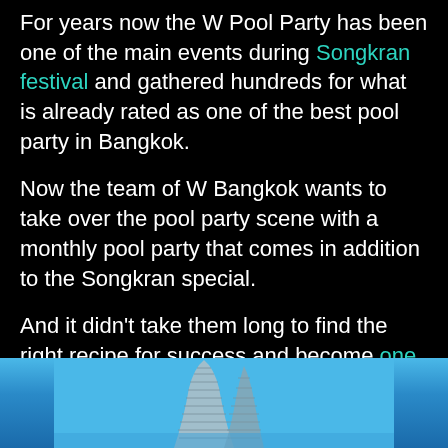For years now the W Pool Party has been one of the main events during Songkran festival and gathered hundreds for what is already rated as one of the best pool party in Bangkok.
Now the team of W Bangkok wants to take over the pool party scene with a monthly pool party that comes in addition to the Songkran special.
And it didn't take them long to find the right recipe for success and become one of the best pool parties in Bangkok!
[Figure (photo): Photo of a modern curved skyscraper building against a blue sky, partially cropped at the bottom of the page]